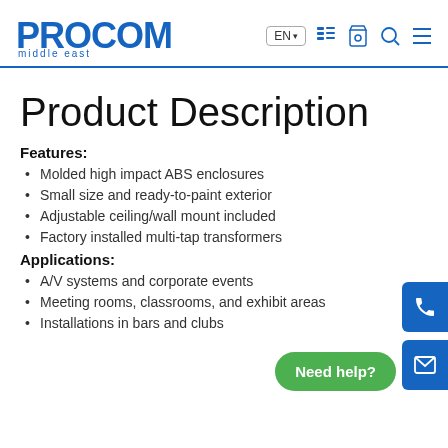PROCOM middle east — EN — nav icons
Product Description
Features:
Molded high impact ABS enclosures
Small size and ready-to-paint exterior
Adjustable ceiling/wall mount included
Factory installed multi-tap transformers
Applications:
A/V systems and corporate events
Meeting rooms, classrooms, and exhibit areas
Installations in bars and clubs